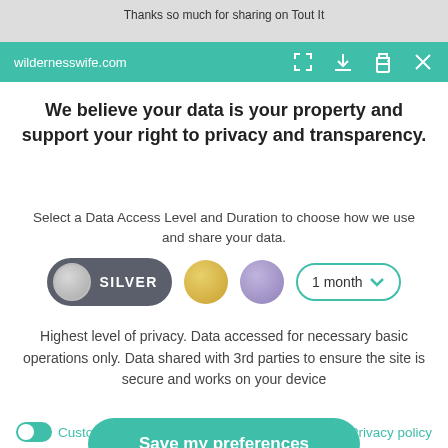[Figure (screenshot): Top strip showing partial social sharing message: 'Thanks so much for sharing on Tout It']
wildernesswife.com
We believe your data is your property and support your right to privacy and transparency.
Select a Data Access Level and Duration to choose how we use and share your data.
[Figure (infographic): Controls row: Silver toggle pill selected, gold circle, purple circle, and '1 month' dropdown]
Highest level of privacy. Data accessed for necessary basic operations only. Data shared with 3rd parties to ensure the site is secure and works on your device
[Figure (infographic): Green rounded button: Save my preferences]
Customize
Privacy policy